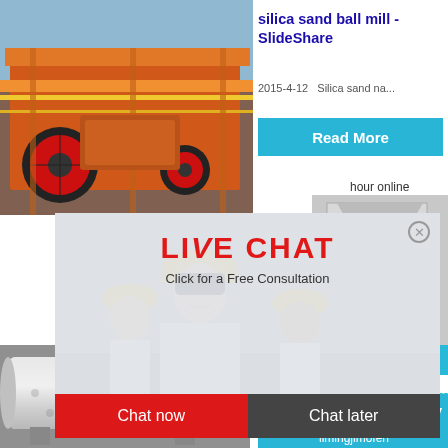[Figure (photo): Industrial mining/crushing machine in orange color with large wheels, scaffolding, and metal structure at a quarry or industrial site]
[Figure (photo): Ball mill cylindrical drum equipment used for grinding silica sand, white/grey industrial machine]
silica sand ball mill - SlideShare
2015-4-12   Silica sand na...
Read More
hour online
[Figure (photo): Industrial crusher machine, grey/white box-shaped equipment with a red and black wheel/motor component]
Lumps Powder
Your que
Click me to chat>>
Read
Enquiry
limingjlmofen
[Figure (photo): Three workers in yellow hard hats and white uniforms smiling at an industrial facility]
LIVE CHAT
Click for a Free Consultation
Chat now
Chat later